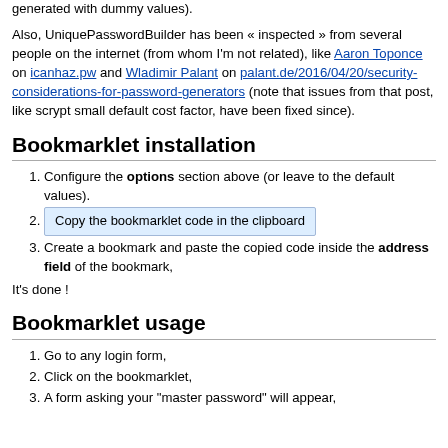generated with dummy values).
Also, UniquePasswordBuilder has been « inspected » from several people on the internet (from whom I'm not related), like Aaron Toponce on icanhaz.pw and Wladimir Palant on palant.de/2016/04/20/security-considerations-for-password-generators (note that issues from that post, like scrypt small default cost factor, have been fixed since).
Bookmarklet installation
Configure the options section above (or leave to the default values).
Copy the bookmarklet code in the clipboard
Create a bookmark and paste the copied code inside the address field of the bookmark,
It's done !
Bookmarklet usage
Go to any login form,
Click on the bookmarklet,
A form asking your "master password" will appear,